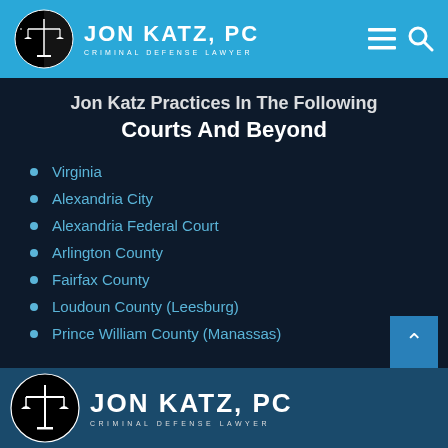Jon Katz, PC — Criminal Defense Lawyer
Jon Katz Practices In The Following Courts And Beyond
Virginia
Alexandria City
Alexandria Federal Court
Arlington County
Fairfax County
Loudoun County (Leesburg)
Prince William County (Manassas)
Jon Katz, PC — Criminal Defense Lawyer